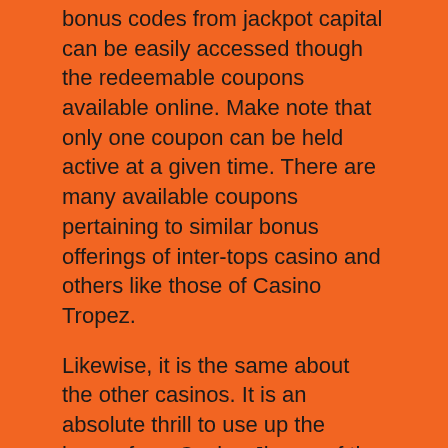bonus codes from jackpot capital can be easily accessed though the redeemable coupons available online. Make note that only one coupon can be held active at a given time. There are many available coupons pertaining to similar bonus offerings of inter-tops casino and others like those of Casino Tropez.
Likewise, it is the same about the other casinos. It is an absolute thrill to use up the bonus from Casino Jing or of the Wild Vegas where there had been no prior deposits. Who wouldn't want to start to play without the requirement of deposits? It is like this free money sent your way so that you can familiarize yourself about the nuances of the game and get better at it. It is a complete win-win situation and just as it has been mentioned, it doesn't stop here. The casinos also let you keep your winnings against the play of the bonus money.